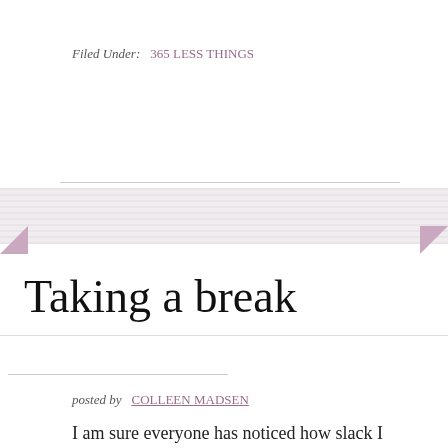Filed Under: 365 LESS THINGS
Taking a break
posted by COLLEEN MADSEN
I am sure everyone has noticed how slack I have been, in recent times, with consistently posting here at 365 Less Things. After completing my mission to declutter over four years ago I have found it harder and harder to be